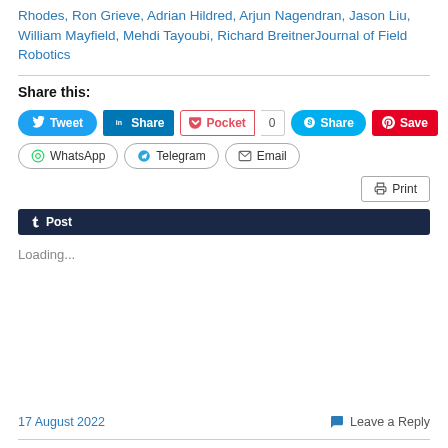Rhodes, Ron Grieve, Adrian Hildred, Arjun Nagendran, Jason Liu, William Mayfield, Mehdi Tayoubi, Richard BreitnerJournal of Field Robotics
Share this:
[Figure (screenshot): Social sharing buttons: Tweet, LinkedIn Share, Pocket (0), Skype Share, Pinterest Save, WhatsApp, Telegram, Email, Print, Tumblr Post]
Loading...
17 August 2022
Leave a Reply